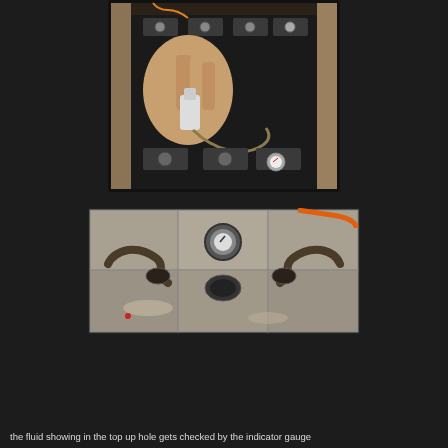[Figure (photo): A hand using a tool or syringe to check or fill fluid in a battery or industrial equipment, showing battery cells with connectors and gauges on a dark battery casing, with wooden frame visible.]
[Figure (photo): Close-up of battery top-up holes with curved pipe connectors and indicator gauge visible, showing three cells with dirty/worn surfaces, orange hose visible in background.]
the fluid showing in the top up hole gets checked by the indicator gauge